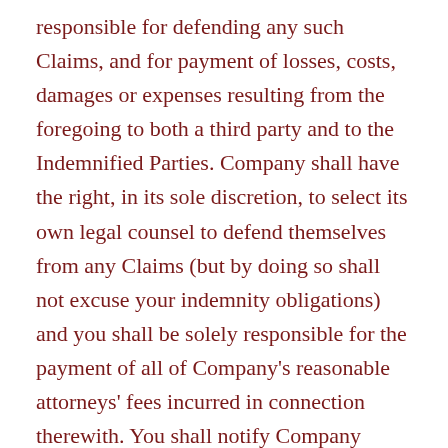responsible for defending any such Claims, and for payment of losses, costs, damages or expenses resulting from the foregoing to both a third party and to the Indemnified Parties. Company shall have the right, in its sole discretion, to select its own legal counsel to defend themselves from any Claims (but by doing so shall not excuse your indemnity obligations) and you shall be solely responsible for the payment of all of Company's reasonable attorneys' fees incurred in connection therewith. You shall notify Company immediately if you become aware of any actual or potential claims, suits, actions, allegations or charges that could affect yours or Company's ability to fully perform their respective duties or to exercise its rights under these Terms. You shall not, without the prior written approval of Company, settle,